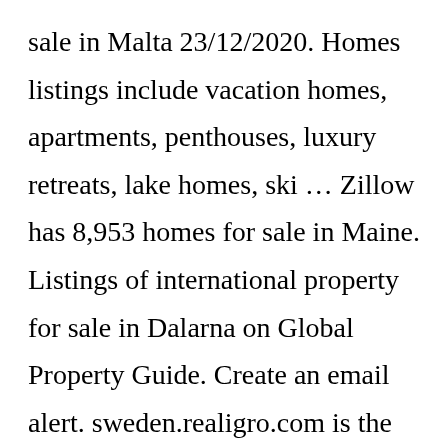sale in Malta 23/12/2020. Homes listings include vacation homes, apartments, penthouses, luxury retreats, lake homes, ski … Zillow has 8,953 homes for sale in Maine. Listings of international property for sale in Dalarna on Global Property Guide. Create an email alert. sweden.realigro.com is the first worldwide real estate search engine where you can look up listings of homes for sale in Sweden Property for sale in Sweden In Sweden property for sale prices fell by 4 %t